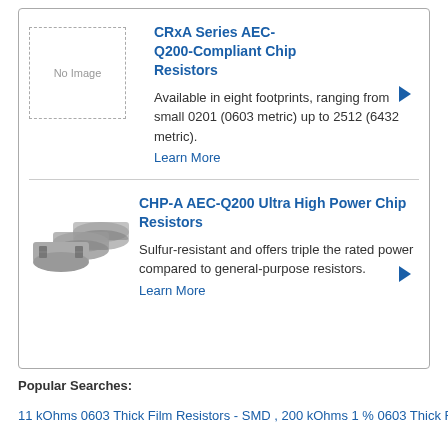[Figure (photo): No Image placeholder box (dashed border) for CRxA Series chip resistor]
CRxA Series AEC-Q200-Compliant Chip Resistors
Available in eight footprints, ranging from small 0201 (0603 metric) up to 2512 (6432 metric).
Learn More
[Figure (photo): Photo of three stacked CHP-A series chip resistors]
CHP-A AEC-Q200 Ultra High Power Chip Resistors
Sulfur-resistant and offers triple the rated power compared to general-purpose resistors.
Learn More
Popular Searches:
11 kOhms 0603 Thick Film Resistors - SMD , 200 kOhms 1 % 0603 Thick Film